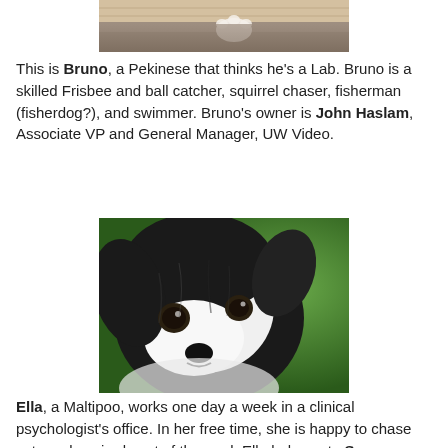[Figure (photo): Partial photo of Bruno the Pekinese dog, showing bottom portion with paw visible on carpet]
This is Bruno, a Pekinese that thinks he's a Lab. Bruno is a skilled Frisbee and ball catcher, squirrel chaser, fisherman (fisherdog?), and swimmer. Bruno's owner is John Haslam, Associate VP and General Manager, UW Video.
[Figure (photo): Close-up photo of Ella, a black and white Maltipoo dog, with green background]
Ella, a Maltipoo, works one day a week in a clinical psychologist's office. In her free time, she is happy to chase cats and squirrels out of the yard. Ella belongs to Sue Morgan, Program Coordinator, Communications/Operations Education Program, UW